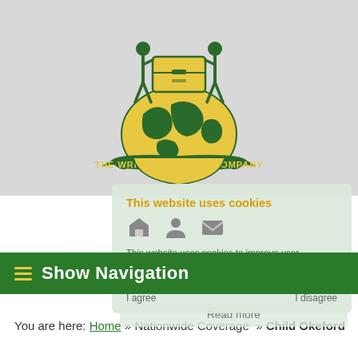[Figure (logo): The Wright Removal Company logo: two figures carrying a chest above a globe, with a green banner reading 'THE WRIGHT REMOVAL COMPANY']
This website uses cookies
This website uses cookies to improve user experience. By using our website you consent to all cookies in accordance with our Privacy Notice.
I agree   I disagree
Show Navigation
Read more
You are here: Home » Nationwide Coverage » Child Okeford